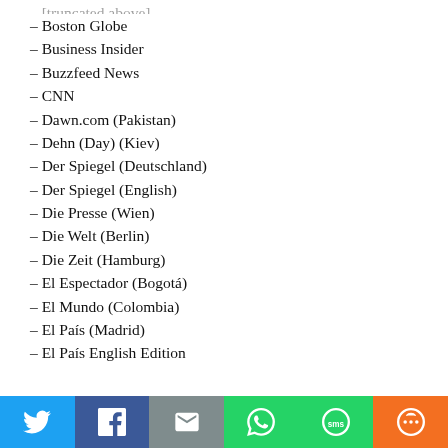– Boston Globe
– Business Insider
– Buzzfeed News
– CNN
– Dawn.com (Pakistan)
– Dehn (Day) (Kiev)
– Der Spiegel (Deutschland)
– Der Spiegel (English)
– Die Presse (Wien)
– Die Welt (Berlin)
– Die Zeit (Hamburg)
– El Espectador (Bogotá)
– El Mundo (Colombia)
– El País (Madrid)
– El País English Edition
[Figure (other): Social share bar with Twitter, Facebook, Email, WhatsApp, SMS, and More buttons]